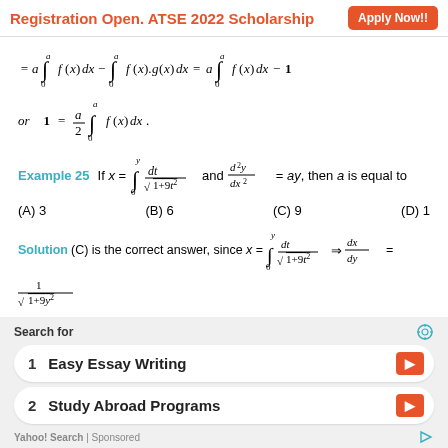Registration Open. ATSE 2022 Scholarship   Apply Now!!
Example 25   If x = ∫₀ʸ dt/√(1+9t²) and d²y/dx² = ay, then a is equal to
(A) 3   (B) 6   (C) 9   (D) 1
Solution  (C) is the correct answer, since x = ∫₀ʸ dt/√(1+9t²) ⇒ dx/dy = 1/√(1+9y²)
Search for
1   Easy Essay Writing
2   Study Abroad Programs
Yahoo! Search | Sponsored